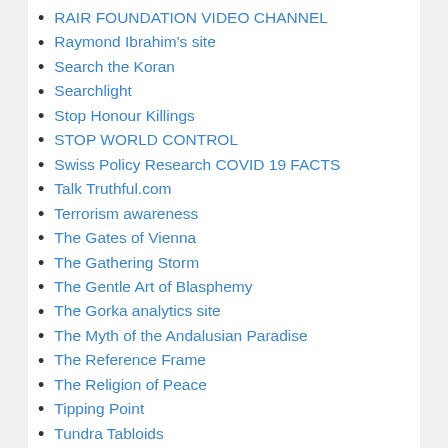RAIR FOUNDATION VIDEO CHANNEL
Raymond Ibrahim's site
Search the Koran
Searchlight
Stop Honour Killings
STOP WORLD CONTROL
Swiss Policy Research COVID 19 FACTS
Talk Truthful.com
Terrorism awareness
The Gates of Vienna
The Gathering Storm
The Gentle Art of Blasphemy
The Gorka analytics site
The Myth of the Andalusian Paradise
The Reference Frame
The Religion of Peace
Tipping Point
Tundra Tabloids
UN Watch
Vlad Tepes Video Channel
Watts up with that
Western Rifle Shooters